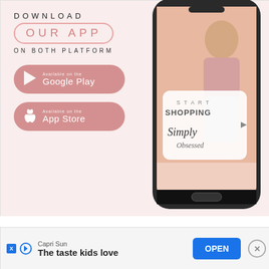[Figure (infographic): App download advertisement with pink background showing 'DOWNLOAD OUR APP ON BOTH PLATFORM' with Google Play and App Store buttons on the left, and a smartphone mockup showing a fashion shopping app on the right with a woman in casual clothing and text 'START SHOPPING Simply Obsessed']
[Figure (infographic): Mobile advertisement banner for Capri Sun with text 'The taste kids love', an OPEN button, X close button, and advertiser icons]